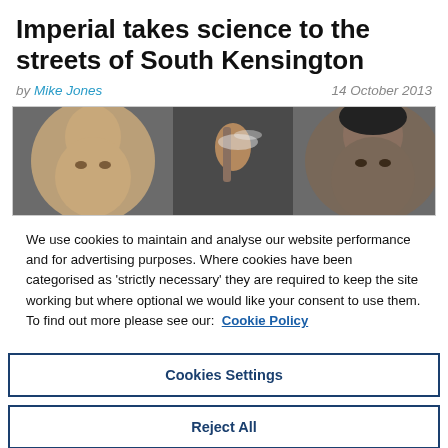Imperial takes science to the streets of South Kensington
by Mike Jones   14 October 2013
[Figure (photo): Photo of people doing a science demonstration, showing faces of participants focused on an experiment with a hand holding something in the center.]
We use cookies to maintain and analyse our website performance and for advertising purposes. Where cookies have been categorised as 'strictly necessary' they are required to keep the site working but where optional we would like your consent to use them. To find out more please see our: Cookie Policy
Cookies Settings
Reject All